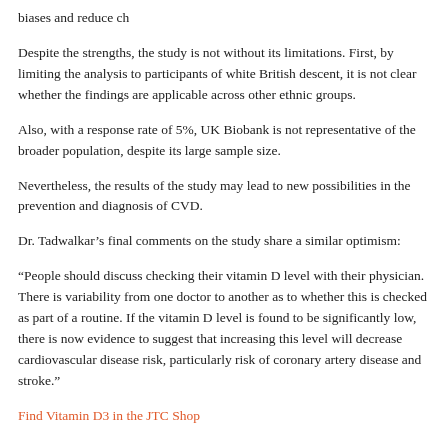biases and reduce ch
Despite the strengths, the study is not without its limitations. First, by limiting the analysis to participants of white British descent, it is not clear whether the findings are applicable across other ethnic groups.
Also, with a response rate of 5%, UK Biobank is not representative of the broader population, despite its large sample size.
Nevertheless, the results of the study may lead to new possibilities in the prevention and diagnosis of CVD.
Dr. Tadwalkar’s final comments on the study share a similar optimism:
“People should discuss checking their vitamin D level with their physician. There is variability from one doctor to another as to whether this is checked as part of a routine. If the vitamin D level is found to be significantly low, there is now evidence to suggest that increasing this level will decrease cardiovascular disease risk, particularly risk of coronary artery disease and stroke.”
Find Vitamin D3 in the JTC Shop